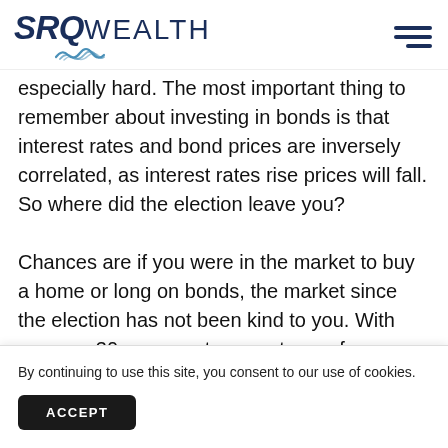SRQ WEALTH
especially hard. The most important thing to remember about investing in bonds is that interest rates and bond prices are inversely correlated, as interest rates rise prices will fall. So where did the election leave you?
Chances are if you were in the market to buy a home or long on bonds, the market since the election has not been kind to you. With average 30-year-mortgage-rates up from 3.54% to 4.13% (as of Dec 8) according to a 2
By continuing to use this site, you consent to our use of cookies.